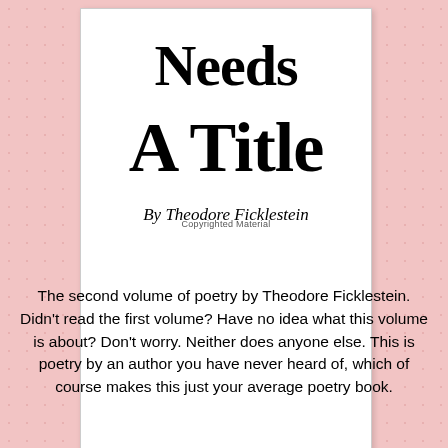[Figure (illustration): Book cover with white background showing title 'Needs A Title' and author 'By Theodore Ficklestein' with 'Copyrighted Material' at the bottom]
The second volume of poetry by Theodore Ficklestein. Didn't read the first volume? Have no idea what this volume is about? Don't worry. Neither does anyone else. This is poetry by an author you have never heard of, which of course makes this just your average poetry book.